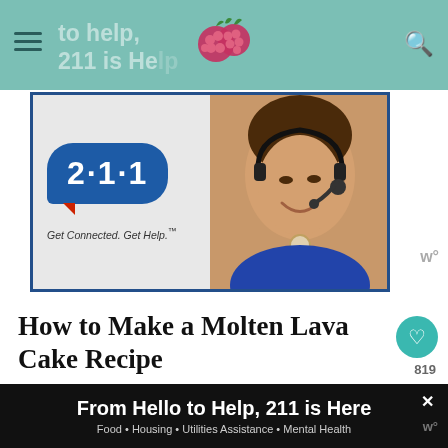to help, 211 is Here
[Figure (screenshot): 211 Get Connected. Get Help. advertisement banner with logo and woman wearing headset]
How to Make a Molten Lava Cake Recipe
Preheat oven to 450°.
Prepare Ramekins with parchment ro... butter, and flour.
Melt butter and white chocolate gently in the ...
[Figure (screenshot): What's Next panel with White Chocolate... thumbnail]
From Hello to Help, 211 is Here — Food • Housing • Utilities Assistance • Mental Health